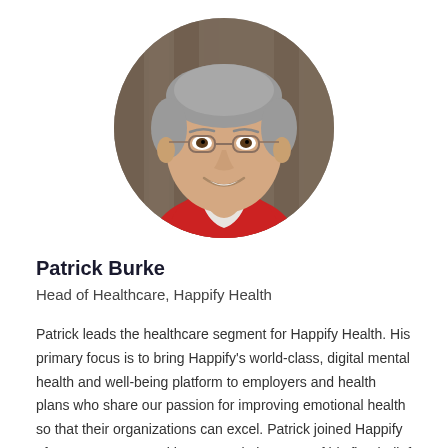[Figure (photo): Circular headshot photo of Patrick Burke, a middle-aged man with grey hair and glasses, wearing a red sweater over a white collared shirt, smiling, with a blurred wooden background.]
Patrick Burke
Head of Healthcare, Happify Health
Patrick leads the healthcare segment for Happify Health. His primary focus is to bring Happify's world-class, digital mental health and well-being platform to employers and health plans who share our passion for improving emotional health so that their organizations can excel. Patrick joined Happify after over 25 years with Aon Hewitt because of his firm belief that digital